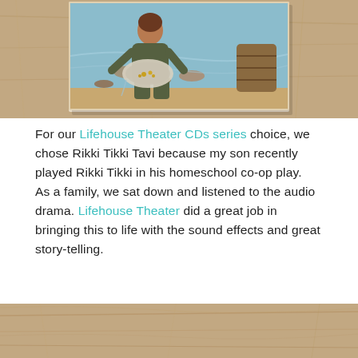[Figure (illustration): Illustration of a person kneeling by water panning for gold, with a wooden barrel nearby, placed on a wooden table surface background.]
For our Lifehouse Theater CDs series choice, we chose Rikki Tikki Tavi because my son recently played Rikki Tikki in his homeschool co-op play.  As a family, we sat down and listened to the audio drama. Lifehouse Theater did a great job in bringing this to life with the sound effects and great story-telling.
[Figure (photo): Wooden table surface background, partial view at bottom of page.]